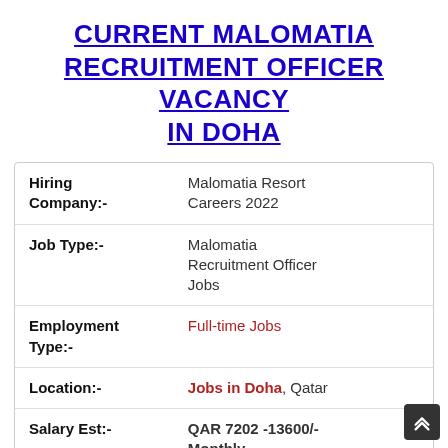CURRENT MALOMATIA RECRUITMENT OFFICER VACANCY IN DOHA
| Field | Value |
| --- | --- |
| Hiring Company:- | Malomatia Resort Careers 2022 |
| Job Type:- | Malomatia Recruitment Officer Jobs |
| Employment Type:- | Full-time Jobs |
| Location:- | Jobs in Doha, Qatar |
| Salary Est:- | QAR 7202 -13600/- Monthly |